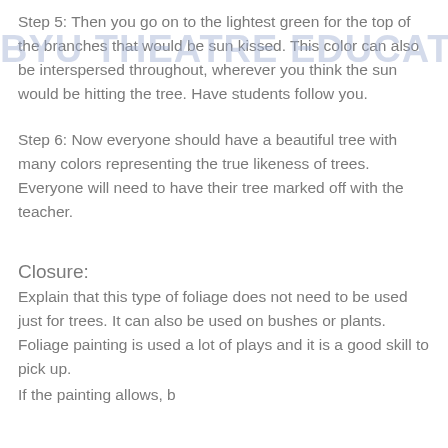Step 5: Then you go on to the lightest green for the top of the branches that would be sun kissed. This color can also be interspersed throughout, wherever you think the sun would be hitting the tree. Have students follow you.
Step 6: Now everyone should have a beautiful tree with many colors representing the true likeness of trees. Everyone will need to have their tree marked off with the teacher.
Closure:
Explain that this type of foliage does not need to be used just for trees. It can also be used on bushes or plants. Foliage painting is used a lot of plays and it is a good skill to pick up.
If the painting allows, b...